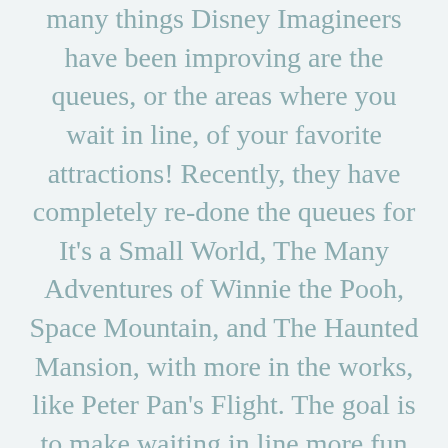many things Disney Imagineers have been improving are the queues, or the areas where you wait in line, of your favorite attractions! Recently, they have completely re-done the queues for It's a Small World, The Many Adventures of Winnie the Pooh, Space Mountain, and The Haunted Mansion, with more in the works, like Peter Pan's Flight. The goal is to make waiting in line more fun than frustrating, and they've done this by adding interactive elements, like the wall of honey in the line of The Many Adventures of Winnie the Pooh. Comprised of four large video touch-screens, guests walking (or waiting) beside them can use their hands and fingers to choose and playing